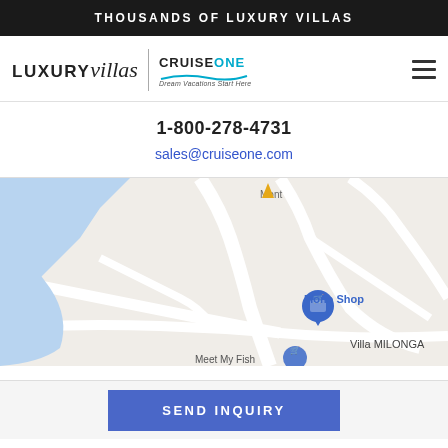THOUSANDS OF LUXURY VILLAS
[Figure (logo): LUXURYvillas logo and CruiseOne Dream Vacations Start Here logo side by side with hamburger menu icon]
1-800-278-4731
sales@cruiseone.com
[Figure (map): Google Maps screenshot showing road map with Mono Shop marker, Villa MILONGA label, and Meet My Fish location partially visible at bottom]
[Figure (other): SEND INQUIRY button in blue]